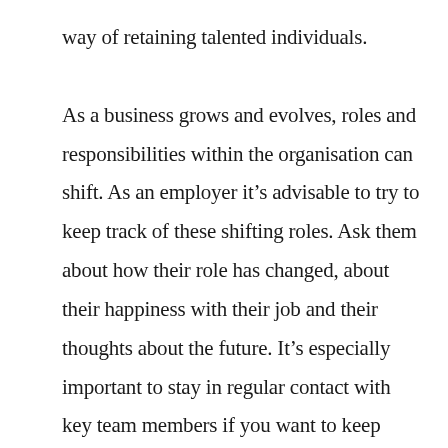way of retaining talented individuals.

As a business grows and evolves, roles and responsibilities within the organisation can shift. As an employer it's advisable to try to keep track of these shifting roles. Ask them about how their role has changed, about their happiness with their job and their thoughts about the future. It's especially important to stay in regular contact with key team members if you want to keep them around. This goes for global workforces too, you should always strive to keep the communication strong in order to manage them, and there are